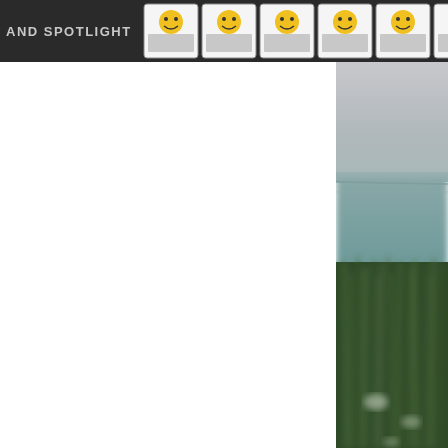AND SPOTLIGHT
[Figure (photo): Blurred nature photograph showing tall green marsh grasses in the foreground and a calm body of water with a flat horizon in the background, muted gray-green tones, appears to be a wetland or coastal scene.]